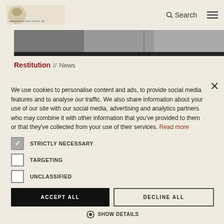Search [logo]
[Figure (photo): Black and white banner photograph strip]
Restitution // News
We use cookies to personalise content and ads, to provide social media features and to analyse our traffic. We also share information about your use of our site with our social media, advertising and analytics partners who may combine it with other information that you've provided to them or that they've collected from your use of their services. Read more
STRICTLY NECESSARY
TARGETING
UNCLASSIFIED
ACCEPT ALL
DECLINE ALL
SHOW DETAILS